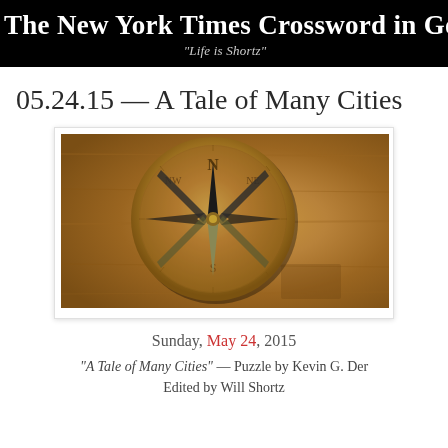The New York Times Crossword in Gothic
"Life is Shortz"
05.24.15 — A Tale of Many Cities
[Figure (photo): A vintage brass compass on aged parchment/wood background, photographed from above showing the compass face with N, NE, NW markings and a star-shaped needle]
Sunday, May 24, 2015
"A Tale of Many Cities" — Puzzle by Kevin G. Der
Edited by Will Shortz